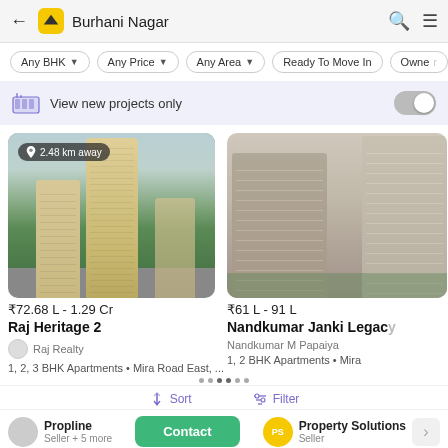Burhani Nagar
Any BHK
Any Price
Any Area
Ready To Move In
Owner
View new projects only
[Figure (photo): Aerial view of tall residential towers with greenery, 2.48 km away]
₹72.68 L - 1.29 Cr
Raj Heritage 2
Raj Realty
1, 2, 3 BHK Apartments • Mira Road East, ...
[Figure (photo): Exterior view of residential apartment block, 2.51 km away]
₹61 L - 91 L
Nandkumar Janki Legacy
Nandkumar M Papaiya
1, 2 BHK Apartments • Mira
Propline | Seller + 5 more | Contact | Property Solutions | Seller